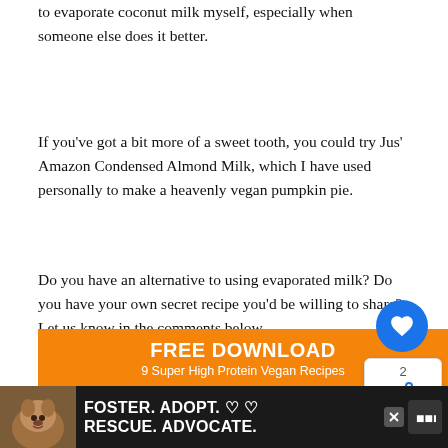to evaporate coconut milk myself, especially when someone else does it better.
If you've got a bit more of a sweet tooth, you could try Jus' Amazon Condensed Almond Milk, which I have used personally to make a heavenly vegan pumpkin pie.
Do you have an alternative to using evaporated milk? Do you have your own secret recipe you'd be willing to share? Let us know in the comments below.
[Figure (other): Orange download banner: FREE DOWNLOAD / 9 Super High Protein Vegan Recipes]
[Figure (other): Bottom advertisement bar: FOSTER. ADOPT. RESCUE. ADVOCATE. with dog photo]